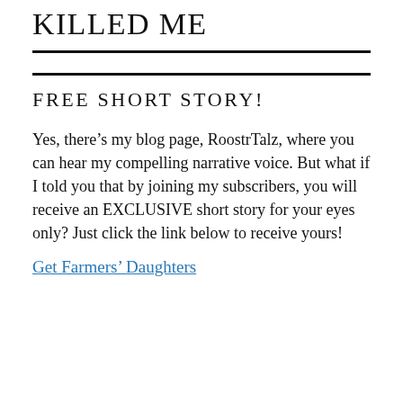KILLED ME
FREE SHORT STORY!
Yes, there’s my blog page, RoostrTalz, where you can hear my compelling narrative voice. But what if I told you that by joining my subscribers, you will receive an EXCLUSIVE short story for your eyes only? Just click the link below to receive yours!
Get Farmers’ Daughters